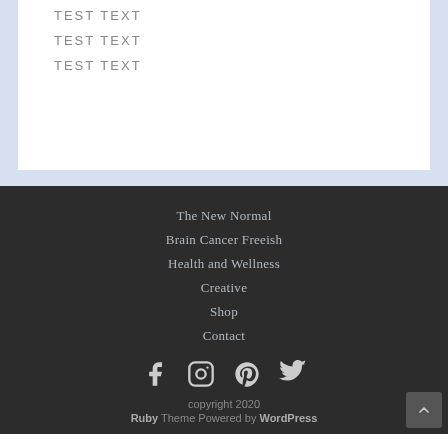TEST TEXT
TEST TEXT
TEST TEXT
The New Normal
Brain Cancer Freeish
Health and Wellness
Creative
Shop
Contact
[Figure (other): Social media icons: Facebook, Instagram, Pinterest, Twitter]
copyright 2020
Ruby Theme Powered by WordPress